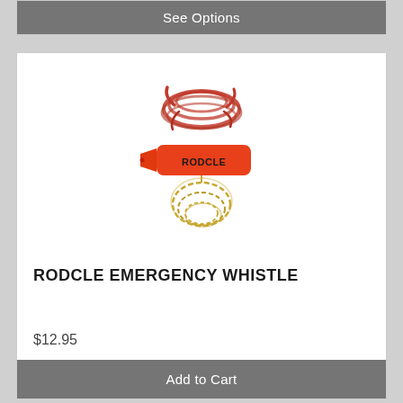See Options
[Figure (photo): A red Rodcle emergency whistle with a coiled gold chain below it and a bundled red rope above it, on a white background.]
RODCLE EMERGENCY WHISTLE
$12.95
Add to Cart